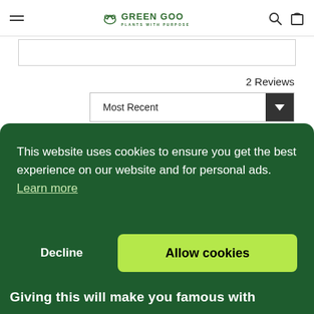GREEN GOO · PLANTS WITH PURPOSE
2 Reviews
Most Recent
Ginger P.
Verified Reviewer
This website uses cookies to ensure you get the best experience on our website and for personal ads.  Learn more
Decline
Allow cookies
Giving this will make you famous with